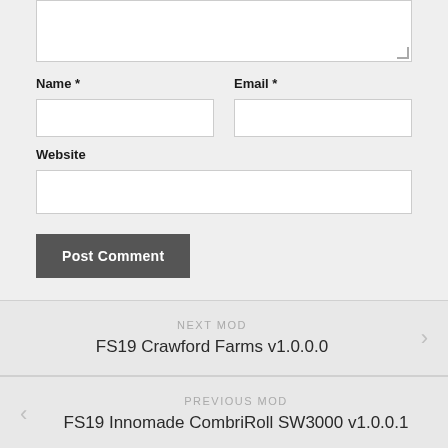[Figure (screenshot): Textarea input box (top portion visible, partially cropped at top)]
Name *
[Figure (screenshot): Name text input field (empty white box)]
Email *
[Figure (screenshot): Email text input field (empty white box)]
Website
[Figure (screenshot): Website text input field (empty white box)]
Post Comment
NEXT MOD
FS19 Crawford Farms v1.0.0.0
PREVIOUS MOD
FS19 Innomade CombriRoll SW3000 v1.0.0.1